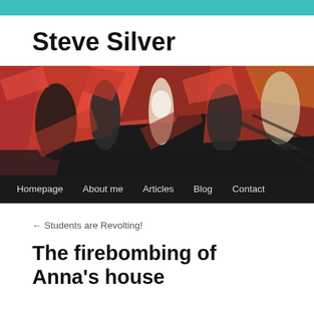Steve Silver
[Figure (illustration): A dramatic painterly illustration showing a crowd scene with figures in red, black, and white tones, appearing to depict a chaotic or revolutionary scene. Below the painting is a dark navigation bar with links: Homepage, About me, Articles, Blog, Contact.]
← Students are Revolting!
The firebombing of Anna's house